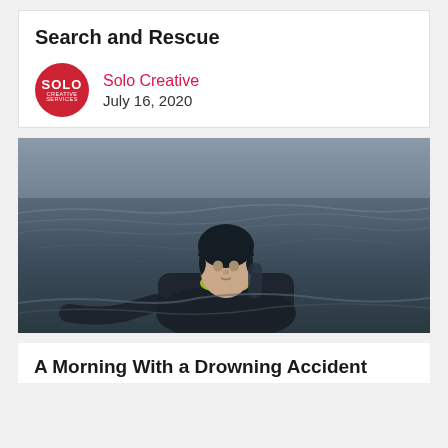Search and Rescue
Solo Creative
July 16, 2020
[Figure (photo): A diver in a black wetsuit and hood, wearing yellow-green goggles and scuba gear, emerging from or swimming in choppy open water. The diver faces the camera with a neutral expression. The water is grey and turbulent in the background.]
A Morning With a Drowning Accident Recovery Team (DART)